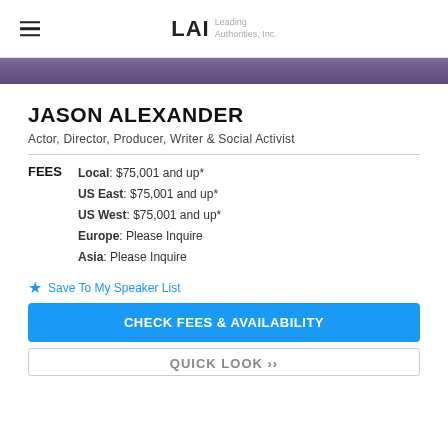LAI Leading Authorities, Inc.
[Figure (photo): Partial photo of Jason Alexander at top of page]
JASON ALEXANDER
Actor, Director, Producer, Writer & Social Activist
FEES  Local: $75,001 and up*  US East: $75,001 and up*  US West: $75,001 and up*  Europe: Please Inquire  Asia: Please Inquire
Save To My Speaker List
CHECK FEES & AVAILABILITY
QUICK LOOK